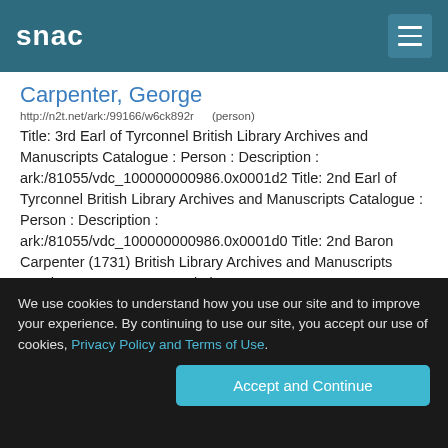snac
Carpenter, George
http://n2t.net/ark:/99166/w6ck892r    (person)
Title: 3rd Earl of Tyrconnel British Library Archives and Manuscripts Catalogue : Person : Description : ark:/81055/vdc_100000000986.0x0001d2 Title: 2nd Earl of Tyrconnel British Library Archives and Manuscripts Catalogue : Person : Description : ark:/81055/vdc_100000000986.0x0001d0 Title: 2nd Baron Carpenter (1731) British Library Archives and Manuscripts Catalogue : Person : Description : ark:/81055/vdc_100000000986.0x0001cf ...
Catharine Wakefield Ward.
http://n2t.net/ark:/99166/w6rp7d5d    (person)
We use cookies to understand how you use our site and to improve your experience. By continuing to use our site, you accept our use of cookies, Privacy Policy and Terms of Use.